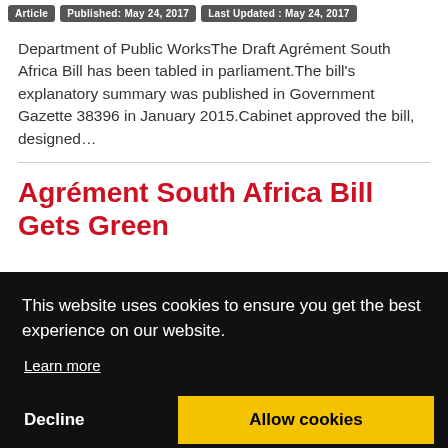Article | Published: May 24, 2017 | Last Updated : May 24, 2017
Department of Public WorksThe Draft Agrément South Africa Bill has been tabled in parliament.The bill's explanatory summary was published in Government Gazette 38396 in January 2015.Cabinet approved the bill, designed...
Agrément South Africa Bill Gets Green
This website uses cookies to ensure you get the best experience on our website.
Learn more
Decline
Allow cookies